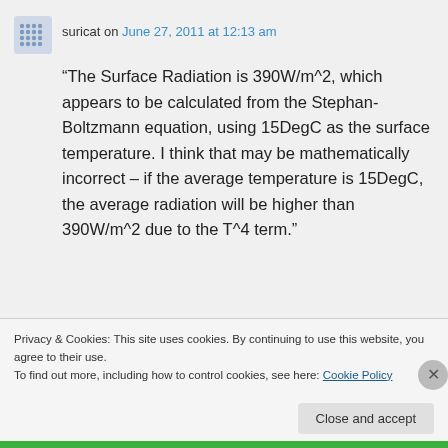suricat on June 27, 2011 at 12:13 am
“The Surface Radiation is 390W/m^2, which appears to be calculated from the Stephan-Boltzmann equation, using 15DegC as the surface temperature. I think that may be mathematically incorrect – if the average temperature is 15DegC, the average radiation will be higher than 390W/m^2 due to the T^4 term.”
Privacy & Cookies: This site uses cookies. By continuing to use this website, you agree to their use.
To find out more, including how to control cookies, see here: Cookie Policy
Close and accept